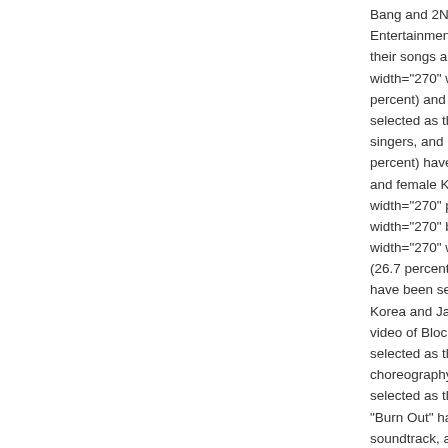Bang and 2NE1, who are re... Entertainment, have promo... their songs all over the wor... width="270" width="270" Ba... percent) and G.NA (30.8 pe... selected as the best male a... singers, and B.A.P (42.5 pe... percent) have been selecte... and female K-pop width="2... width="270" percent) and B... width="270" been selected ... width="270" width="270" Ba... (26.7 percent) and 2NE1's ... have been selected as the b... Korea and Japan, width="2... video of Block B's "Nilili Ma... selected as the best K-pop ... choreography of B.A.P's "W... selected as the best choreo... "Burn Out" has been selecto... soundtrack, and CN Blue a... selected as the best Rock/A... Hiphop width="270" width=... hosted by So Loved, a K-po... Germany, and sponsored b... in Germany, German Emba... Korean Federation for Inte...